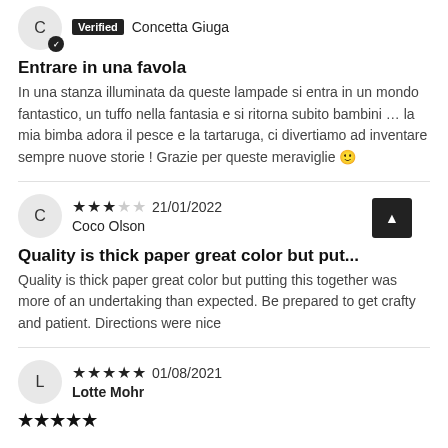C — Verified Concetta Giuga (stars, date cropped at top)
Entrare in una favola
In una stanza illuminata da queste lampade si entra in un mondo fantastico, un tuffo nella fantasia e si ritorna subito bambini … la mia bimba adora il pesce e la tartaruga, ci divertiamo ad inventare sempre nuove storie ! Grazie per queste meraviglie 🙂
C — Coco Olson — ★★★☆☆ 21/01/2022
Quality is thick paper great color but put...
Quality is thick paper great color but putting this together was more of an undertaking than expected. Be prepared to get crafty and patient. Directions were nice
L — Lotte Mohr — ★★★★★ 01/08/2021
★★★★★